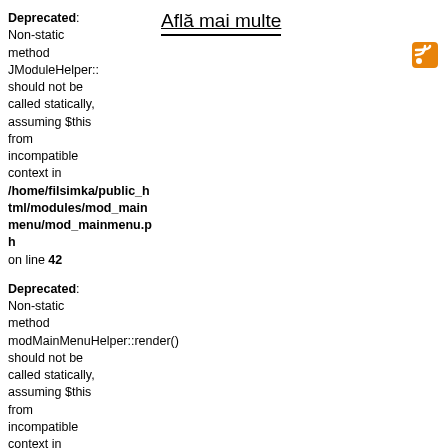Aflã mai multe
Deprecated: Non-static method JModuleHelper:: should not be called statically, assuming $this from incompatible context in /home/filsimka/public_html/modules/mod_mainmenu/mod_mainmenu.php on line 42
[Figure (logo): RSS feed icon - orange square with white RSS symbol]
Deprecated: Non-static method modMainMenuHelper::render() should not be called statically, assuming $this from incompatible context in /home/filsimka/public_html/modules/mod_mainmenu/tmpl/default.php on line 82
Deprecated: Non-static method